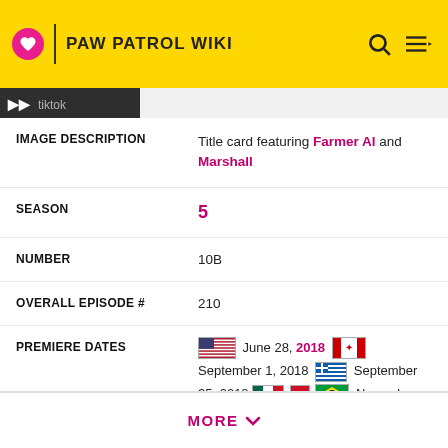PAW PATROL WIKI
| Field | Value |
| --- | --- |
| IMAGE DESCRIPTION | Title card featuring Farmer Al and Marshall |
| SEASON | 5 |
| NUMBER | 10B |
| OVERALL EPISODE # | 210 |
| PREMIERE DATES | 🇺🇸 June 28, 2018 🇨🇦 September 1, 2018 🇬🇷 September 25, 2018 🇲🇽🇧🇷 November 20, 2018 🇵🇱 November 21, 2018 |
MORE